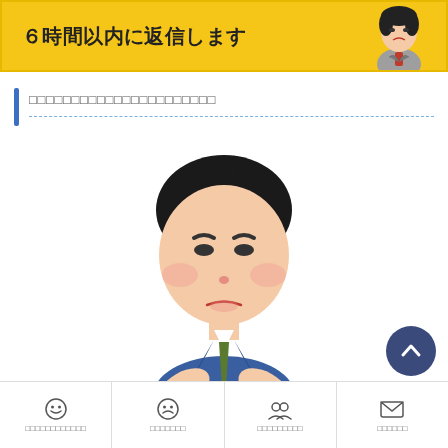[Figure (illustration): Yellow banner with bold Japanese text '6時間以内に返信します' (We will reply within 6 hours) and a cartoon businessman figure on the right]
□□□□□□□□□□□□□□□□□□□□□□
[Figure (illustration): Cartoon illustration of a sad-looking Japanese businessman with dark hair, wearing a blue suit and green tie, with a dejected/troubled expression]
[Figure (illustration): Dark blue circular scroll-to-top button with upward chevron arrow]
☺ □□□□□□□□□□□ | ☹ □□□□□□□ | 👥 □□□□□□□□□ | ✉ □□□□□□□